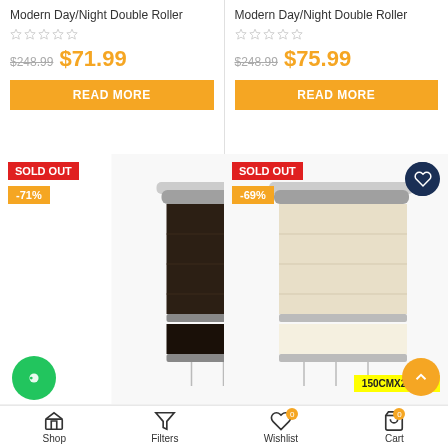Modern Day/Night Double Roller
$248.99  $71.99
READ MORE
Modern Day/Night Double Roller
$248.99  $75.99
READ MORE
[Figure (photo): Dark brown double roller blind, SOLD OUT, -71%, 150CMX210CM]
[Figure (photo): Cream/beige double roller blind, SOLD OUT, -69%, 150CMX210CM]
Shop  Filters  Wishlist (0)  Cart (0)